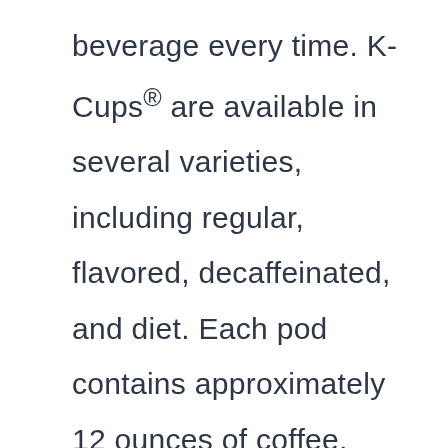beverage every time. K-Cups® are available in several varieties, including regular, flavored, decaffeinated, and diet. Each pod contains approximately 12 ounces of coffee, making it possible to brew a full pot in less than 10 minutes. The K-Classic comes with a removable drip tray and a built-in grinder and filter system for grinding